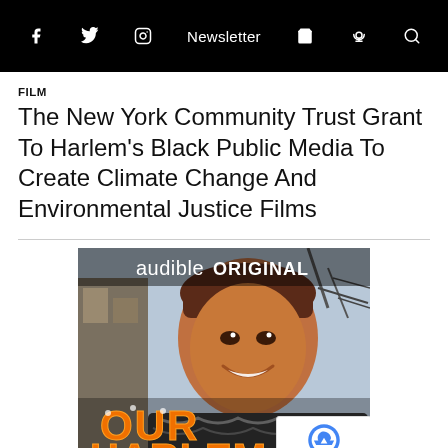f [facebook] [twitter] [instagram] Newsletter [cart] [podcast] [search]
FILM
The New York Community Trust Grant To Harlem's Black Public Media To Create Climate Change And Environmental Justice Films
[Figure (photo): Audible Original podcast cover art showing a smiling man wearing a brown hat and patterned scarf, with large orange marquee-style letters reading OUR HARLEM and text KING. MUSIC. at the bottom]